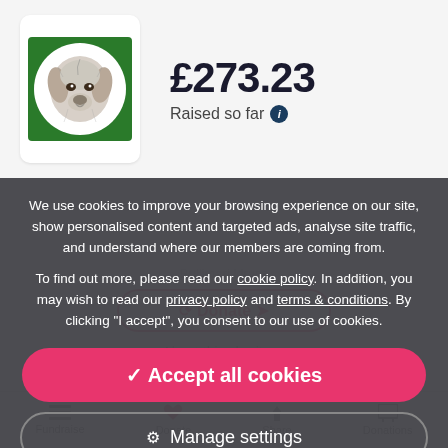[Figure (illustration): A pencil sketch drawing of a dog (appears to be a Labrador or similar breed) shown in a circular frame on a dark green square background, displayed inside a white rounded rectangle card.]
£273.23
Raised so far ℹ
We use cookies to improve your browsing experience on our site, show personalised content and targeted ads, analyse site traffic, and understand where our members are coming from.
To find out more, please read our cookie policy. In addition, you may wish to read our privacy policy and terms & conditions. By clicking "I accept", you consent to our use of cookies.
✓ Accept all cookies
⚙ Manage settings